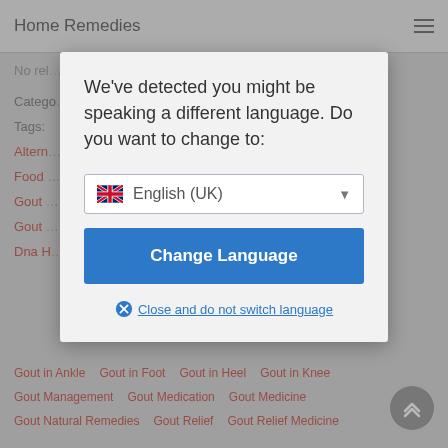Home Remedies
No rel…
Catego…
Tags:
We've detected you might be speaking a different language. Do you want to change to:
English (UK)
Change Language
Close and do not switch language
Gout in Ankle   Gout in Foot   Gout in Heel   Gout in Knee
Gout Management   Gout Medication   Gout Medicine
Gout Natural Remedies   Gout Relief   Gout Relief Medicine